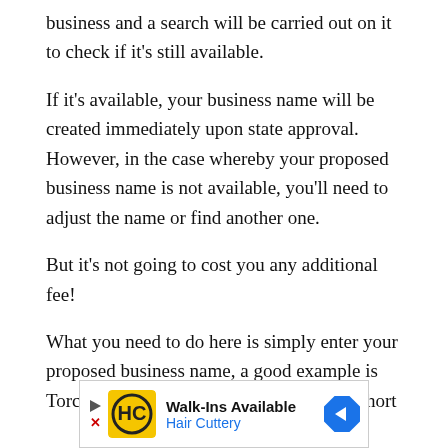business and a search will be carried out on it to check if it's still available.
If it's available, your business name will be created immediately upon state approval. However, in the case whereby your proposed business name is not available, you'll need to adjust the name or find another one.
But it's not going to cost you any additional fee!
What you need to do here is simply enter your proposed business name, a good example is Torchbankz Technology and also write a short
[Figure (other): Advertisement banner for Hair Cuttery showing 'Walk-Ins Available' text with logo and directional arrow icon]